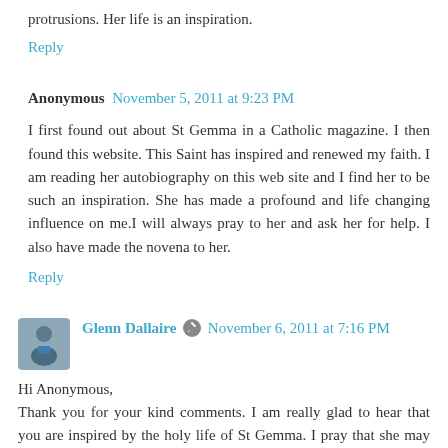protrusions. Her life is an inspiration.
Reply
Anonymous  November 5, 2011 at 9:23 PM
I first found out about St Gemma in a Catholic magazine. I then found this website. This Saint has inspired and renewed my faith. I am reading her autobiography on this web site and I find her to be such an inspiration. She has made a profound and life changing influence on me.I will always pray to her and ask her for help. I also have made the novena to her.
Reply
Glenn Dallaire  November 6, 2011 at 7:16 PM
Hi Anonymous,
Thank you for your kind comments. I am really glad to hear that you are inspired by the holy life of St Gemma. I pray that she may always lead you ever closer to Jesus and Mary.